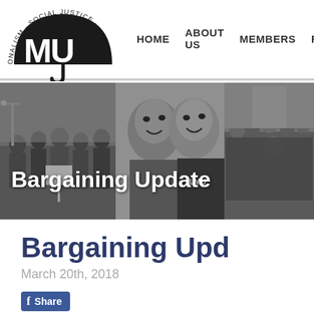[Figure (logo): Organization logo: partial umbrella with text 'ONALISM · SOCIAL JUSTICE' around the arc, letters MU below]
HOME   ABOUT US   MEMBERS   R…
[Figure (photo): Banner collage of grayscale photos showing groups of people/workers holding signs, with overlay text 'Bargaining Update']
Bargaining Upd…
March 20th, 2018
Share